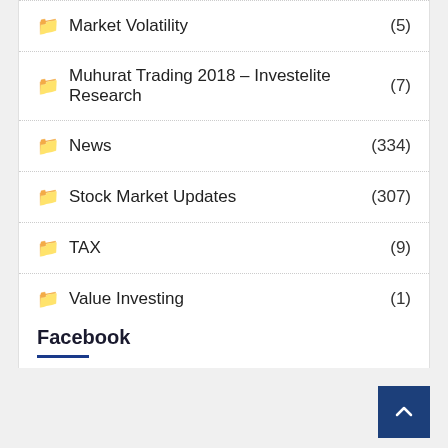Market Volatility (5)
Muhurat Trading 2018 – Investelite Research (7)
News (334)
Stock Market Updates (307)
TAX (9)
Value Investing (1)
Facebook